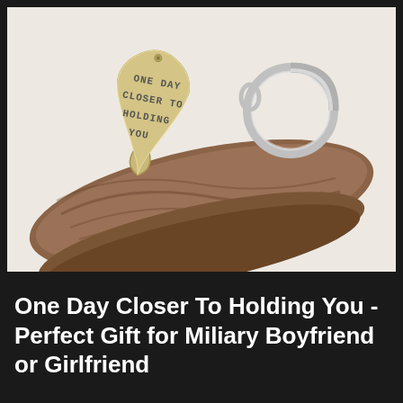[Figure (photo): A heart-shaped metal keychain charm stamped with the words 'ONE DAY CLOSER TO HOLDING YOU', attached to a silver key ring, resting on a piece of driftwood against a white background.]
One Day Closer To Holding You - Perfect Gift for Miliary Boyfriend or Girlfriend